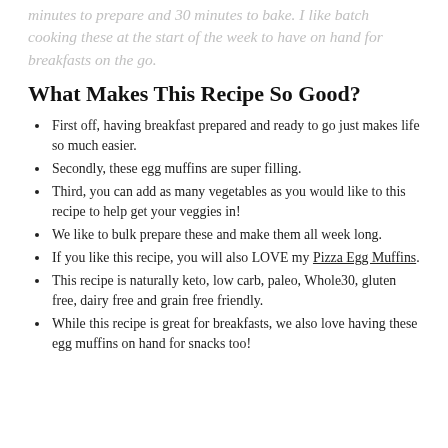minutes to prepare and 30 minutes to bake. I like batch cooking these at the start of the week to have on hand for breakfasts on the go.
What Makes This Recipe So Good?
First off, having breakfast prepared and ready to go just makes life so much easier.
Secondly, these egg muffins are super filling.
Third, you can add as many vegetables as you would like to this recipe to help get your veggies in!
We like to bulk prepare these and make them all week long.
If you like this recipe, you will also LOVE my Pizza Egg Muffins.
This recipe is naturally keto, low carb, paleo, Whole30, gluten free, dairy free and grain free friendly.
While this recipe is great for breakfasts, we also love having these egg muffins on hand for snacks too!